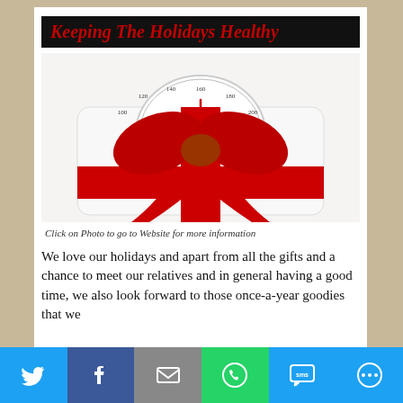Keeping The Holidays Healthy
[Figure (photo): A bathroom weight scale wrapped with a large red ribbon and bow, resembling a Christmas gift, on a white background.]
Click on Photo to go to Website for more information
We love our holidays and apart from all the gifts and a chance to meet our relatives and in general having a good time, we also look forward to those once-a-year goodies that we
[Figure (infographic): Social sharing bar with Twitter, Facebook, Email, WhatsApp, SMS, and More icons at the bottom of the page.]